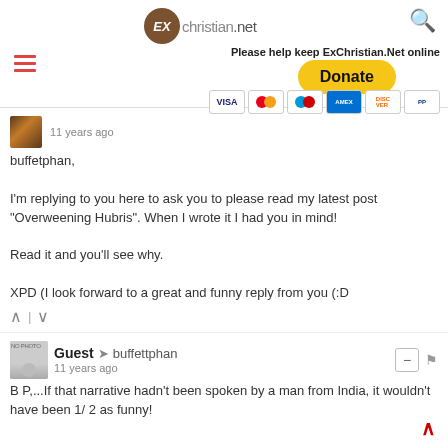exchristian.net — Please help keep ExChristian.Net online — Donate
11 years ago
buffetphan,

I'm replying to you here to ask you to please read my latest post "Overweening Hubris". When I wrote it I had you in mind!

Read it and you'll see why.

XPD (I look forward to a great and funny reply from you (:D
Guest → buffettphan
11 years ago
B P,...If that narrative hadn't been spoken by a man from India, it wouldn't have been 1/ 2 as funny!